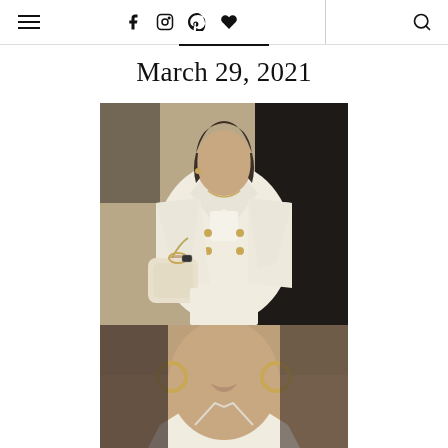Navigation header with hamburger menu, social icons (Facebook, Instagram, Pinterest, heart/favorites), divider, and search icon
March 29, 2021
[Figure (photo): Woman wearing a white double-breasted blazer suit with gold buttons, white crop top, white wide-leg trousers, carrying a cream quilted chain-strap bag, with gold jewelry, standing near a dark door outdoors]
[Figure (photo): Close-up portrait of a woman wearing gold hoop earrings and a white blazer collar, neutral makeup, looking straight ahead]